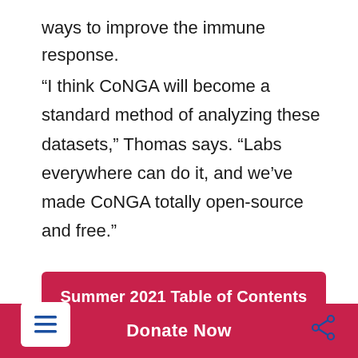ways to improve the immune response.
“I think CoNGA will become a standard method of analyzing these datasets,” Thomas says. “Labs everywhere can do it, and we’ve made CoNGA totally open-source and free.”
Summer 2021 Table of Contents
[Figure (other): Share icon button (circular)]
From Promise, Summer 2021
Donate Now